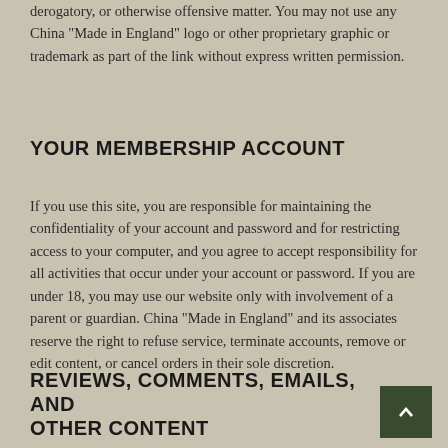derogatory, or otherwise offensive matter. You may not use any China "Made in England" logo or other proprietary graphic or trademark as part of the link without express written permission.
YOUR MEMBERSHIP ACCOUNT
If you use this site, you are responsible for maintaining the confidentiality of your account and password and for restricting access to your computer, and you agree to accept responsibility for all activities that occur under your account or password. If you are under 18, you may use our website only with involvement of a parent or guardian. China "Made in England" and its associates reserve the right to refuse service, terminate accounts, remove or edit content, or cancel orders in their sole discretion.
REVIEWS, COMMENTS, EMAILS, AND OTHER CONTENT